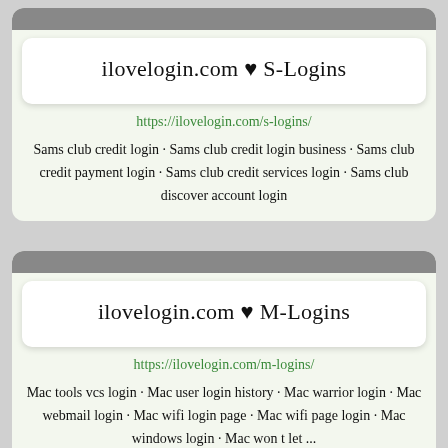ilovelogin.com ♥ S-Logins
https://ilovelogin.com/s-logins/
Sams club credit login · Sams club credit login business · Sams club credit payment login · Sams club credit services login · Sams club discover account login
ilovelogin.com ♥ M-Logins
https://ilovelogin.com/m-logins/
Mac tools vcs login · Mac user login history · Mac warrior login · Mac webmail login · Mac wifi login page · Mac wifi page login · Mac windows login · Mac won t let ...